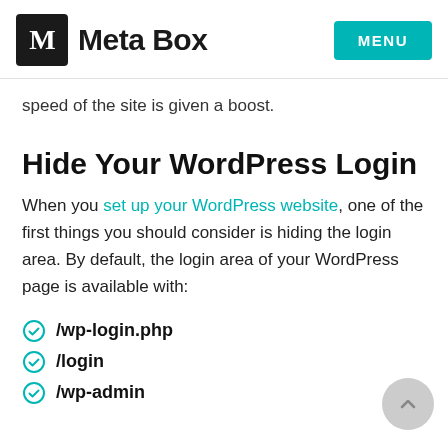Meta Box | MENU
speed of the site is given a boost.
Hide Your WordPress Login
When you set up your WordPress website, one of the first things you should consider is hiding the login area. By default, the login area of your WordPress page is available with:
/wp-login.php
/login
/wp-admin